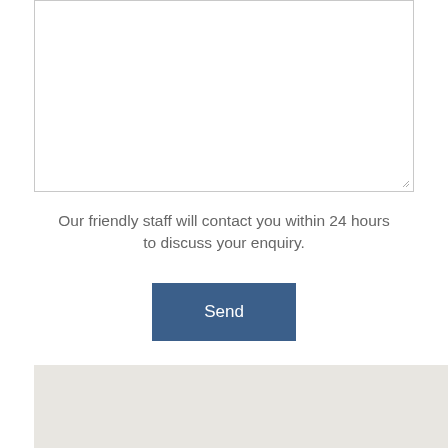[Figure (screenshot): Empty textarea input box with resize handle in bottom-right corner]
Our friendly staff will contact you within 24 hours to discuss your enquiry.
Send
[Figure (map): Light grey map background area]